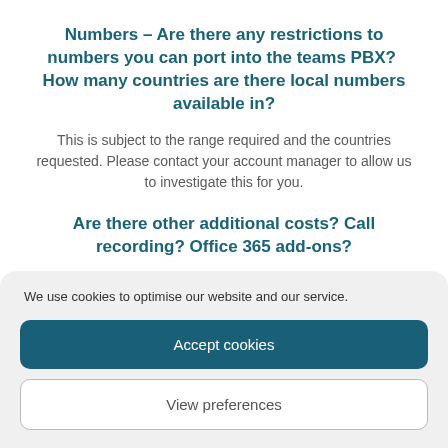Numbers – Are there any restrictions to numbers you can port into the teams PBX?  How many countries are there local numbers available in?
This is subject to the range required and the countries requested. Please contact your account manager to allow us to investigate this for you.
Are there other additional costs? Call recording? Office 365 add-ons?
We use cookies to optimise our website and our service.
Accept cookies
View preferences